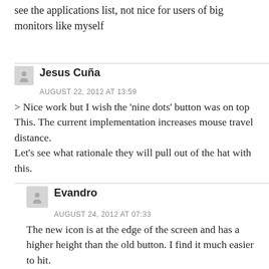see the applications list, not nice for users of big monitors like myself
Jesus Cuña
AUGUST 22, 2012 AT 13:59
> Nice work but I wish the 'nine dots' button was on top This. The current implementation increases mouse travel distance.
Let's see what rationale they will pull out of the hat with this.
Evandro
AUGUST 24, 2012 AT 07:33
The new icon is at the edge of the screen and has a higher height than the old button. I find it much easier to hit.